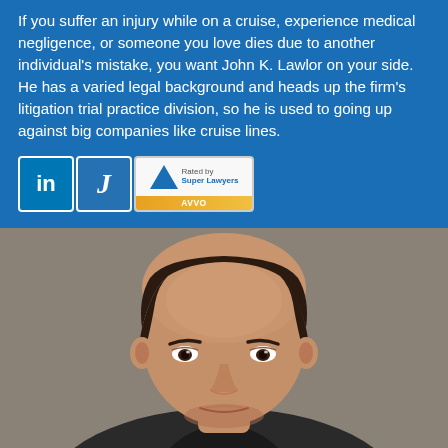If you suffer an injury while on a cruise, experience medical negligence, or someone you love dies due to another individual's mistake, you want John K. Lawlor on your side. He has a varied legal background and heads up the firm's litigation trial practice division, so he is used to going up against big companies like cruise lines.
[Figure (logo): Three social/professional profile badges: LinkedIn (in), Justia (J), and Avvo rated by top lawyers]
[Figure (photo): Professional headshot photo of a middle-aged bald man in business attire against a gray background]